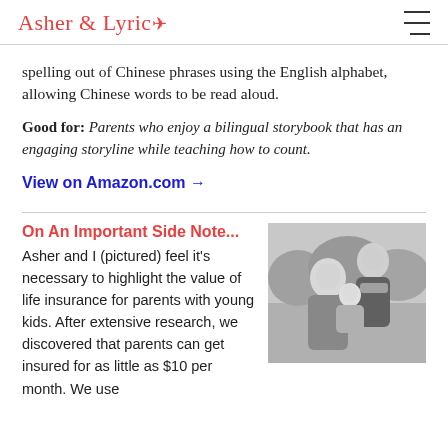Asher & Lyric
spelling out of Chinese phrases using the English alphabet, allowing Chinese words to be read aloud.
Good for: Parents who enjoy a bilingual storybook that has an engaging storyline while teaching how to count.
View on Amazon.com →
On An Important Side Note...
Asher and I (pictured) feel it's necessary to highlight the value of life insurance for parents with young kids. After extensive research, we discovered that parents can get insured for as little as $10 per month. We use
[Figure (photo): Black and white photo of a family — a woman, a man, and a baby]